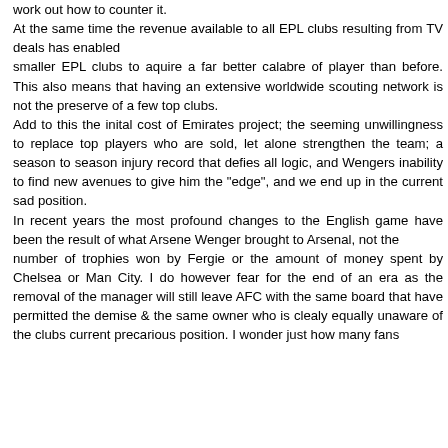work out how to counter it. At the same time the revenue available to all EPL clubs resulting from TV deals has enabled smaller EPL clubs to aquire a far better calabre of player than before. This also means that having an extensive worldwide scouting network is not the preserve of a few top clubs. Add to this the inital cost of Emirates project; the seeming unwillingness to replace top players who are sold, let alone strengthen the team; a season to season injury record that defies all logic, and Wengers inability to find new avenues to give him the "edge", and we end up in the current sad position. In recent years the most profound changes to the English game have been the result of what Arsene Wenger brought to Arsenal, not the number of trophies won by Fergie or the amount of money spent by Chelsea or Man City. I do however fear for the end of an era as the removal of the manager will still leave AFC with the same board that have permitted the demise & the same owner who is clealy equally unaware of the clubs current precarious position. I wonder just how many fans will be aware of a fan to raise minimum of £70 to ticket for